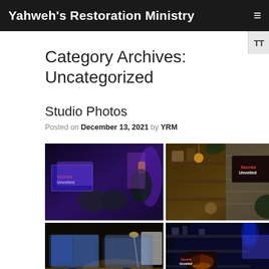Yahweh's Restoration Ministry
Category Archives: Uncategorized
Studio Photos
Posted on December 13, 2021 by YRM
[Figure (photo): Grid of six studio photos showing broadcasting equipment, purple lighting, monitors, control room, and green screen setup for Yahweh's Restoration Ministry studio]
[Figure (screenshot): TT font size toggle button on right side]